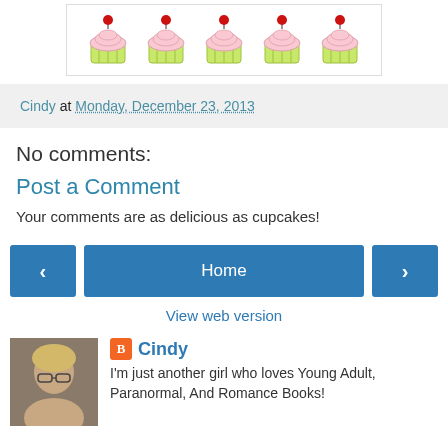[Figure (illustration): Five pink cupcakes with cherries on top arranged in a row inside a white bordered box]
Cindy at Monday, December 23, 2013
No comments:
Post a Comment
Your comments are as delicious as cupcakes!
[Figure (other): Navigation buttons: left arrow, Home, right arrow]
View web version
[Figure (photo): Profile photo of Cindy, a young blond woman with glasses]
Cindy
I'm just another girl who loves Young Adult, Paranormal, And Romance Books!